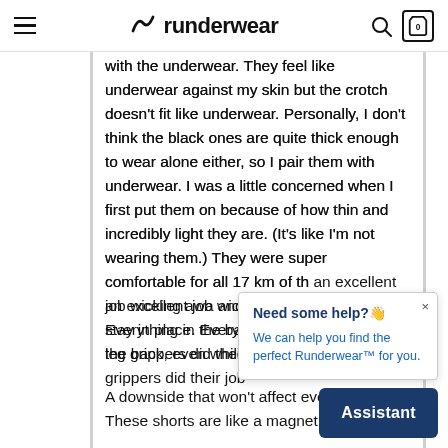runderwear
with the underwear. They feel like underwear against my skin but the crotch doesn't fit like underwear. Personally, I don't think the black ones are quite thick enough to wear alone either, so I pair them with underwear. I was a little concerned when I first put them on because of how thin and incredibly light they are. (It's like I'm not wearing them.) They were super comfortable for all 17 km of th… an excellent job wicking awa… and stay in place. Everything in the back, even while stretc… the leg grippers did their job…
A downside that won't affect everyone: These shorts are like a magnet for my… fur.
I would love to see Runderwear adapt these into a compression short.
[Figure (screenshot): Chat popup widget with title 'Need some help?👋' and body text 'We can help you find the perfect Runderwear™ for you.' with close button and 'Assistant' button]